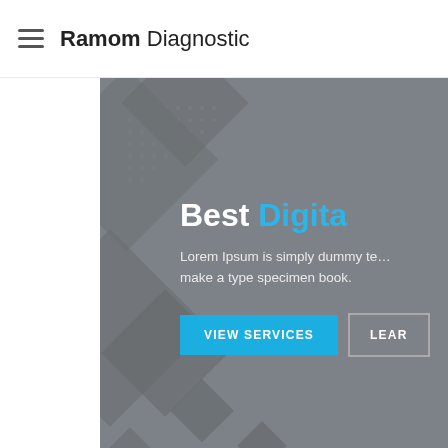Ramom Diagnostic
[Figure (screenshot): Hero banner section with dark gray background featuring decorative diamond/square geometric shapes, text 'Best Digita' (truncated) in white and blue, lorem ipsum body text, and two buttons: 'VIEW SERVICES' (blue) and 'LEARN' (outlined, truncated). Below the hero is a white section with a partial icon visible at bottom right.]